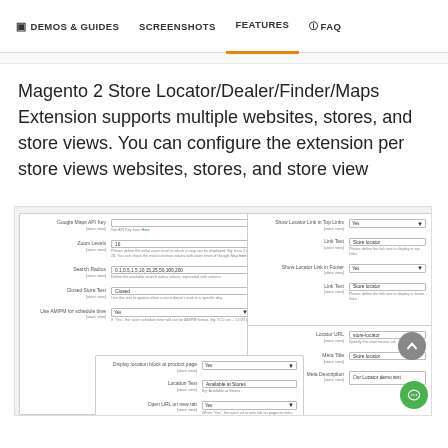DEMOS & GUIDES | SCREENSHOTS | FEATURES | FAQ
Magento 2 Store Locator/Dealer/Finder/Maps Extension supports multiple websites, stores, and store views. You can configure the extension per store views websites, stores, and store view
[Figure (screenshot): Screenshots of Magento 2 Store Locator admin configuration panels showing Google Maps API Key, Zoom Levels, Search Radius, Closed Store Text, AM/PM schedule settings, Show Locator Link in Top Links, Link Text, Show Locator Link in Footer, Locator URL, Meta Title, Meta Description, Display location block at product page, Location Text, Open URL on new tab fields.]